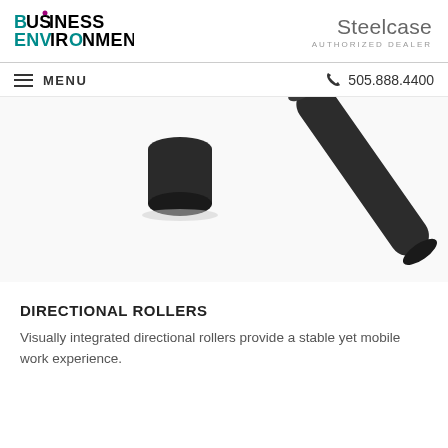Business Environments | Steelcase Authorized Dealer
MENU  505.888.4400
[Figure (photo): Close-up photo of dark/black directional roller furniture legs on a white background]
DIRECTIONAL ROLLERS
Visually integrated directional rollers provide a stable yet mobile work experience.